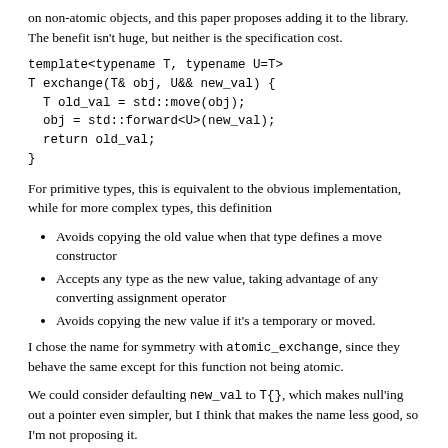on non-atomic objects, and this paper proposes adding it to the library. The benefit isn't huge, but neither is the specification cost.
For primitive types, this is equivalent to the obvious implementation, while for more complex types, this definition
Avoids copying the old value when that type defines a move constructor
Accepts any type as the new value, taking advantage of any converting assignment operator
Avoids copying the new value if it's a temporary or moved.
I chose the name for symmetry with atomic_exchange, since they behave the same except for this function not being atomic.
We could consider defaulting new_val to T{}, which makes null'ing out a pointer even simpler, but I think that makes the name less good, so I'm not proposing it.